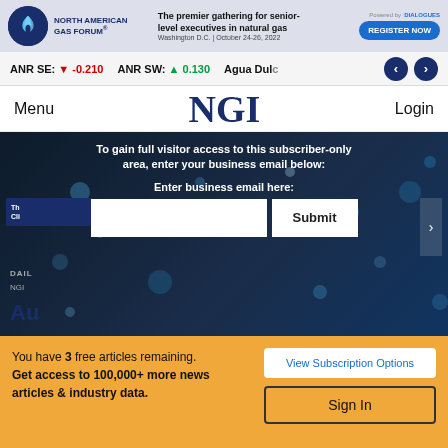[Figure (screenshot): North American Gas Forum banner ad with logo, tagline, date and Register Now button]
ANR SE: ▼ -0.210   ANR SW: ▲ 0.130   Agua Dulc…
NGI
Menu
Login
To gain full visitor access to this subscriber-only area, enter your business email below:
Enter business email here:
Submit
DAILY
NGI
Au…
You have 3 free articles remaining. Get access to 100,000+ more news articles & industry data.
View Subscription Options
Sign In